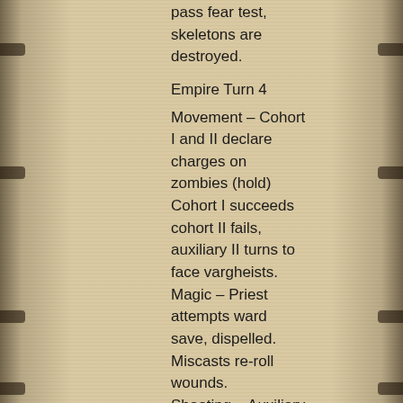pass fear test, skeletons are destroyed.
Empire Turn 4
Movement – Cohort I and II declare charges on zombies (hold) Cohort I succeeds cohort II fails, auxiliary II turns to face vargheists. Magic – Priest attempts ward save, dispelled. Miscasts re-roll wounds. Shooting – Auxiliary I Handgunners shoot at vargheits, inflict 1 wound killing a vargheist. Hand-to-hand – Cohort I fails fear